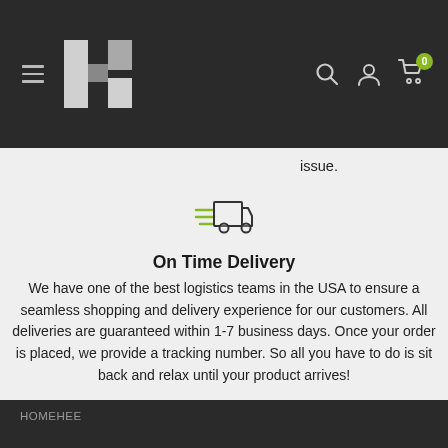[Figure (logo): Website navigation bar with hamburger menu, H4 logo, search icon, user icon, and cart icon with badge showing 0]
issue.
[Figure (illustration): Delivery truck icon with speed lines in olive/dark style]
On Time Delivery
We have one of the best logistics teams in the USA to ensure a seamless shopping and delivery experience for our customers. All deliveries are guaranteed within 1-7 business days. Once your order is placed, we provide a tracking number. So all you have to do is sit back and relax until your product arrives!
HOMEHEE